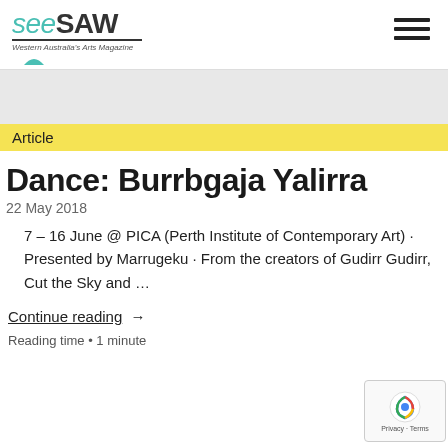seesaw - Western Australia's Arts Magazine
Article
Dance: Burrbgaja Yalirra
22 May 2018
7 – 16 June @ PICA (Perth Institute of Contemporary Art) · Presented by Marrugeku · From the creators of Gudirr Gudirr, Cut the Sky and …
Continue reading →
Reading time • 1 minute